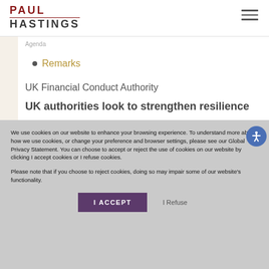PAUL HASTINGS
Remarks
UK Financial Conduct Authority
UK authorities look to strengthen resilience
We use cookies on our website to enhance your browsing experience. To understand more about how we use cookies, or change your preference and browser settings, please see our Global Privacy Statement. You can choose to accept or reject the use of cookies on our website by clicking I accept cookies or I refuse cookies.

Please note that if you choose to reject cookies, doing so may impair some of our website's functionality.